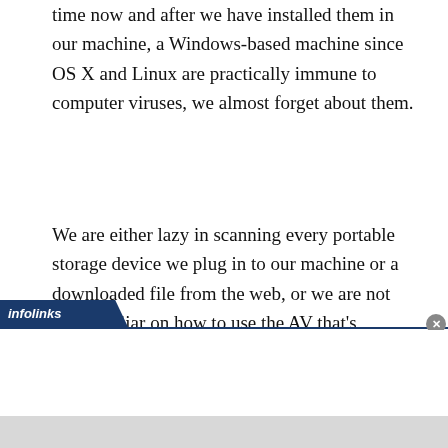time now and after we have installed them in our machine, a Windows-based machine since OS X and Linux are practically immune to computer viruses, we almost forget about them.
We are either lazy in scanning every portable storage device we plug in to our machine or a downloaded file from the web, or we are not that familiar on how to use the AV that's installed in our system.
[Figure (screenshot): Infolinks advertisement banner with close button and white ad area below]